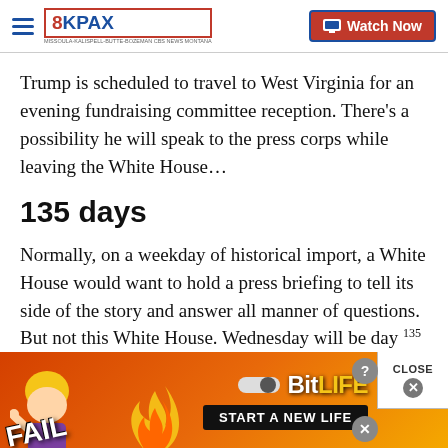8KPAX — Watch Now
Trump is scheduled to travel to West Virginia for an evening fundraising committee reception. There’s a possibility he will speak to the press corps while leaving the White House…
135 days
Normally, on a weekday of historical import, a White House would want to hold a press briefing to tell its side of the story and answer all manner of questions. But not this White House. Wednesday will be day 135 without a formal on-camera press briefing
[Figure (screenshot): BitLife advertisement banner at bottom: orange/fire background with FAIL text, cartoon character, flame, BitLife logo with pill icon, and START A NEW LIFE button. Close button overlay in top right.]